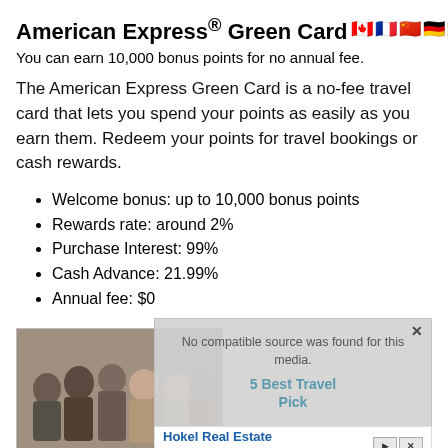American Express® Green Card
You can earn 10,000 bonus points for no annual fee.
The American Express Green Card is a no-fee travel card that lets you spend your points as easily as you earn them. Redeem your points for travel bookings or cash rewards.
Welcome bonus: up to 10,000 bonus points
Rewards rate: around 2%
Purchase Interest: 99%
Cash Advance: 21.99%
Annual fee: $0
[Figure (screenshot): Video overlay with 'No compatible source was found for this media.' message, partially overlapping a group photo of people and an ad for Hokel Real Estate Team with '5 Best Travel Pick' text. Ad footer shows 'www.getbannestar.in'.]